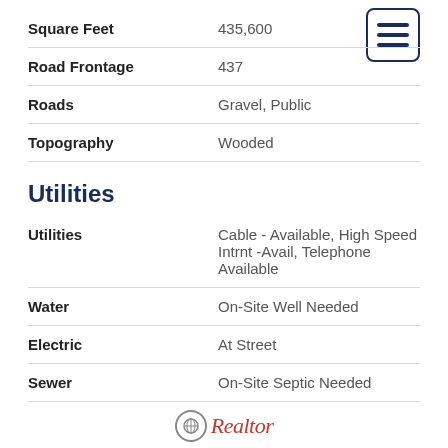| Field | Value |
| --- | --- |
| Square Feet | 435,600 |
| Road Frontage | 437 |
| Roads | Gravel, Public |
| Topography | Wooded |
Utilities
| Field | Value |
| --- | --- |
| Utilities | Cable - Available, High Speed Intrnt -Avail, Telephone Available |
| Water | On-Site Well Needed |
| Electric | At Street |
| Sewer | On-Site Septic Needed |
[Figure (logo): Realtor logo with circular icon and red italic script text]